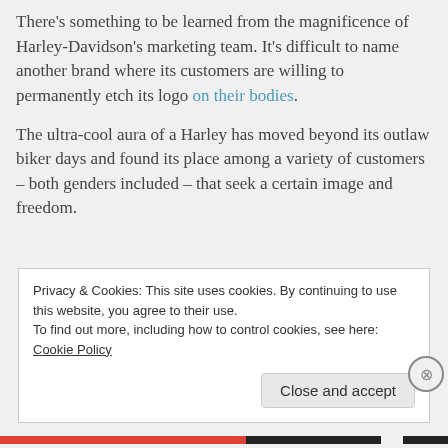There's something to be learned from the magnificence of Harley-Davidson's marketing team. It's difficult to name another brand where its customers are willing to permanently etch its logo on their bodies.
The ultra-cool aura of a Harley has moved beyond its outlaw biker days and found its place among a variety of customers – both genders included – that seek a certain image and freedom.
Privacy & Cookies: This site uses cookies. By continuing to use this website, you agree to their use. To find out more, including how to control cookies, see here: Cookie Policy